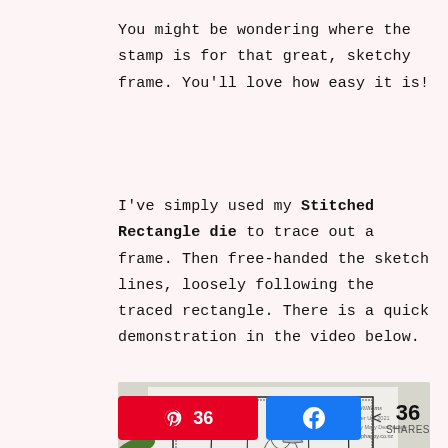You might be wondering where the stamp is for that great, sketchy frame. You'll love how easy it is!
I've simply used my Stitched Rectangle die to trace out a frame. Then free-handed the sketch lines, loosely following the traced rectangle. There is a quick demonstration in the video below.
[Figure (photo): Close-up photo of a handmade card showing a pelican stamp with twine and a sketchy rectangle frame, watermarked with Jacque Williams / del Stamper Up! 2021 / Inspired by Mary Deatherage / www.stamphappy.co.nz]
36  [Pinterest share button]  [Facebook share button]  < 36 SHARES